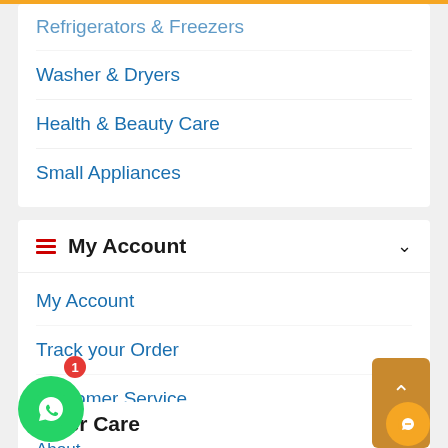Refrigerators & Freezers
Washer & Dryers
Health & Beauty Care
Small Appliances
My Account
My Account
Track your Order
Customer Service
Returns/Exchange
FAQs
Customer Care
About